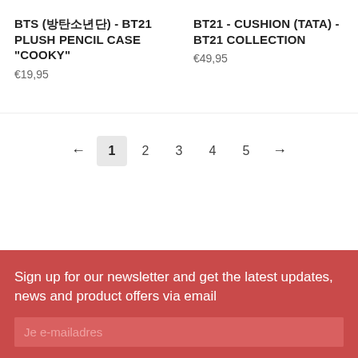BTS (방탄소년단) - BT21 PLUSH PENCIL CASE "COOKY"
€19,95
BT21 - CUSHION (TATA) - BT21 COLLECTION
€49,95
← 1 2 3 4 5 →
Sign up for our newsletter and get the latest updates, news and product offers via email
Je e-mailadres